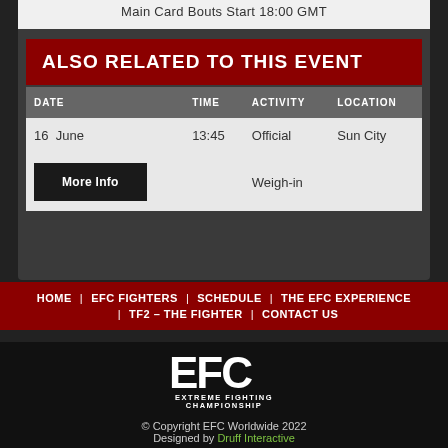Main Card Bouts Start 18:00 GMT
ALSO RELATED TO THIS EVENT
| DATE | TIME | ACTIVITY | LOCATION |
| --- | --- | --- | --- |
| 16 June | 13:45 | Official Weigh-in | Sun City |
More Info
HOME | EFC FIGHTERS | SCHEDULE | THE EFC EXPERIENCE | TF2 – THE FIGHTER | CONTACT US
[Figure (logo): EFC Extreme Fighting Championship logo in white on dark background]
© Copyright EFC Worldwide 2022
Designed by Druff Interactive